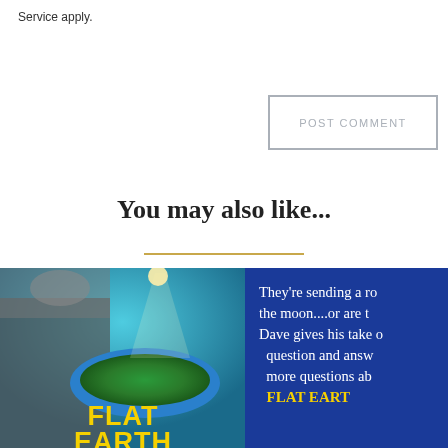Service apply.
POST COMMENT
You may also like...
[Figure (photo): Flat Earth themed image with a man wearing headphones and a cap on the left side, a flat earth globe illustration, and text overlay reading FLAT EARTH. Right side has blue background with white and yellow text: They're sending a ro[cket to] the moon....or are t[hey?] Dave gives his take o[n this] question and answ[ers] more questions ab[out] FLAT EART[H]]